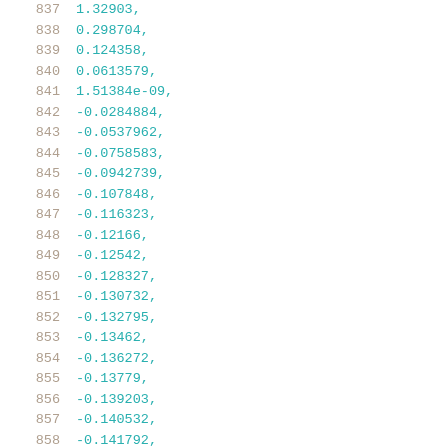837   1.32903,
838   0.298704,
839   0.124358,
840   0.0613579,
841   1.51384e-09,
842   -0.0284884,
843   -0.0537962,
844   -0.0758583,
845   -0.0942739,
846   -0.107848,
847   -0.116323,
848   -0.12166,
849   -0.12542,
850   -0.128327,
851   -0.130732,
852   -0.132795,
853   -0.13462,
854   -0.136272,
855   -0.13779,
856   -0.139203,
857   -0.140532,
858   -0.141792,